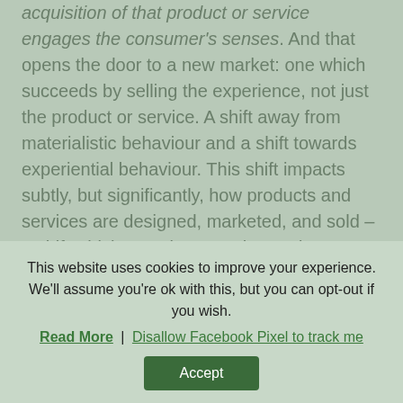acquisition of that product or service engages the consumer's senses. And that opens the door to a new market: one which succeeds by selling the experience, not just the product or service. A shift away from materialistic behaviour and a shift towards experiential behaviour. This shift impacts subtly, but significantly, how products and services are designed, marketed, and sold – a shift which complements the modern movement towards an integrated, technologically supported
This website uses cookies to improve your experience. We'll assume you're ok with this, but you can opt-out if you wish.
Read More | Disallow Facebook Pixel to track me
Accept